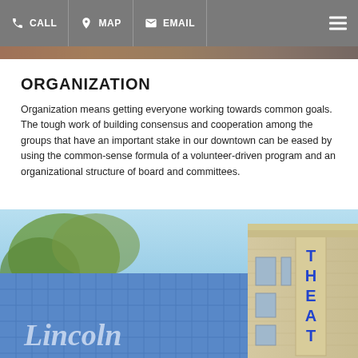CALL | MAP | EMAIL
[Figure (photo): Top decorative image strip showing partial photograph]
ORGANIZATION
Organization means getting everyone working towards common goals. The tough work of building consensus and cooperation among the groups that have an important stake in our downtown can be eased by using the common-sense formula of a volunteer-driven program and an organizational structure of board and committees.
[Figure (photo): Photograph of the Lincoln Theater building exterior with blue tile facade and vertical 'THEAT' signage visible]